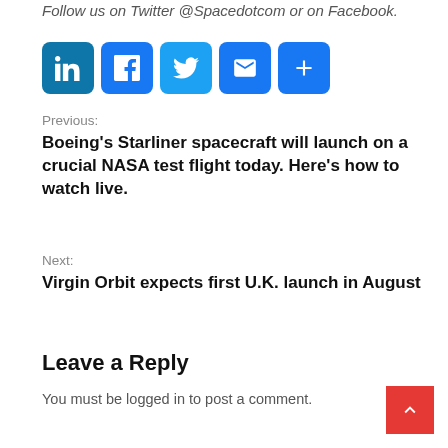Follow us on Twitter @Spacedotcom or on Facebook.
[Figure (other): Row of social media share buttons: LinkedIn, Facebook, Twitter, Email, Share]
Previous:
Boeing’s Starliner spacecraft will launch on a crucial NASA test flight today. Here’s how to watch live.
Next:
Virgin Orbit expects first U.K. launch in August
Leave a Reply
You must be logged in to post a comment.